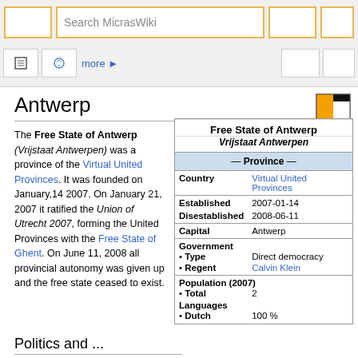Search MicrasWiki
Antwerp
The Free State of Antwerp (Vrijstaat Antwerpen) was a province of the Virtual United Provinces. It was founded on January,14 2007. On January 21, 2007 it ratified the Union of Utrecht 2007, forming the United Provinces with the Free State of Ghent. On June 11, 2008 all provincial autonomy was given up and the free state ceased to exist.
| Free State of Antwerp Vrijstaat Antwerpen |  |
| --- | --- |
| — Province — |  |
| Country | Virtual United Provinces |
| Established | 2007-01-14 |
| Disestablished | 2008-06-11 |
| Capital | Antwerp |
| Government |  |
| • Type | Direct democracy |
| • Regent | Calvin Klein |
| Population (2007) |  |
| • Total | 2 |
| Languages |  |
| • Dutch | 100 % |
Politics and ...